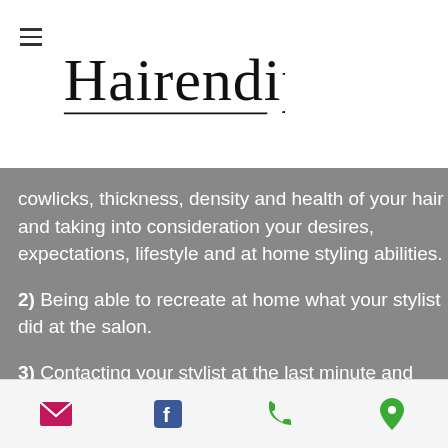[Figure (logo): Hairendipity cursive script logo with underline, on white background]
nding
y to
r and
f the
cowlicks, thickness, density and health of your hair and taking into consideration your desires, expectations, lifestyle and at home styling abilities.
2)  Being able to recreate at home what your stylist did at the salon.
3)  Contacting your stylist at the last minute and actually getting in.
Email | Facebook | Phone | Location